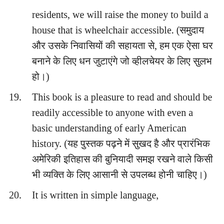residents, we will raise the money to build a house that is wheelchair accessible. (समुदाय और उसके निवासियों की सहायता से, हम एक ऐसा घर बनाने के लिए धन जुटाएंगे जो व्हीलचेयर के लिए सुलभ हो।)
19. This book is a pleasure to read and should be readily accessible to anyone with even a basic understanding of early American history. (यह पुस्तक पढ़ने में सुखद है और प्रारंभिक अमेरिकी इतिहास की बुनियादी समझ रखने वाले किसी भी व्यक्ति के लिए आसानी से उपलब्ध होनी चाहिए।)
20. It is written in simple language,